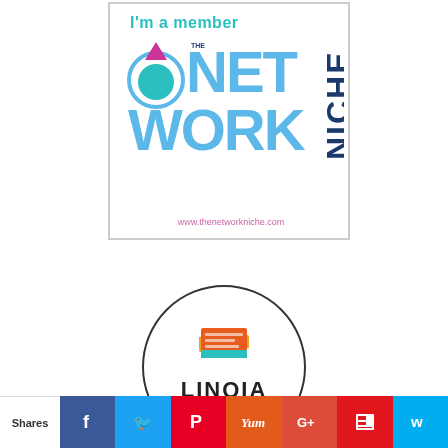[Figure (logo): The Network Niche membership badge with 'I'm a member' text, circular logo with teal/pink diamond design, large 'NET WORK' in blue and 'NICHE' vertically in dark navy, URL www.thenetworkniche.com in pink]
[Figure (logo): LINQIA Influencer badge - circular badge with orange/teal stacked pages icon, text LINQIA Influencer]
[Figure (infographic): Social sharing bar with Shares label and icons for Facebook, Twitter, Pinterest, Yummly, Google+, Flipboard, and another social network]